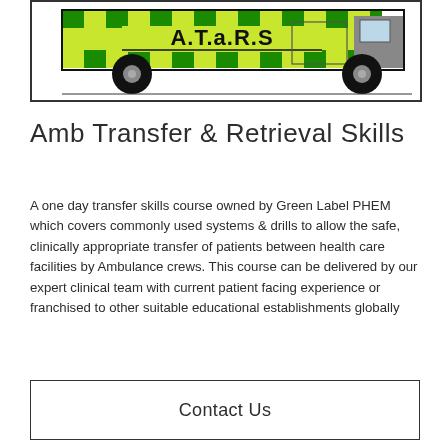[Figure (illustration): Illustration of a yellow and green checkered ambulance van with 'A.T.a.R.S' text on the side, shown in side profile view inside a bordered box.]
Amb Transfer & Retrieval Skills
A one day transfer skills course owned by Green Label PHEM which covers commonly used systems & drills to allow the safe, clinically appropriate transfer of patients between health care facilities by Ambulance crews. This course can be delivered by our expert clinical team with current patient facing experience or franchised to other suitable educational establishments globally
Contact Us